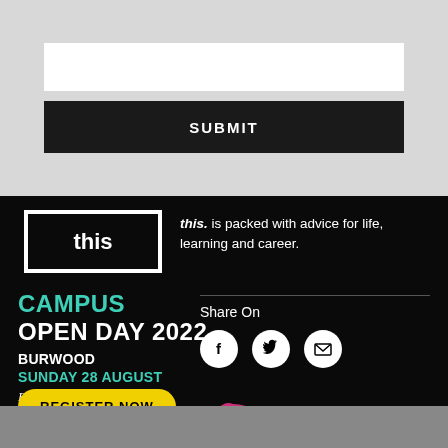[Figure (screenshot): A white input text field on a grey background]
SUBMIT
[Figure (logo): Logo box with word 'this' in white on black background with white border brackets]
this. is packed with advice for life, learning and career.
CAMPUS OPEN DAY 2022
BURWOOD
SUNDAY 28 AUGUST
Experience your tomorrow
Share On
[Figure (infographic): Social share icons: Facebook, Twitter, Email on white circles]
REGISTER NOW
[Figure (illustration): Pink/magenta arrow pointing left, part of a circular shape]
NIVERSITY
SUBSCRIBE